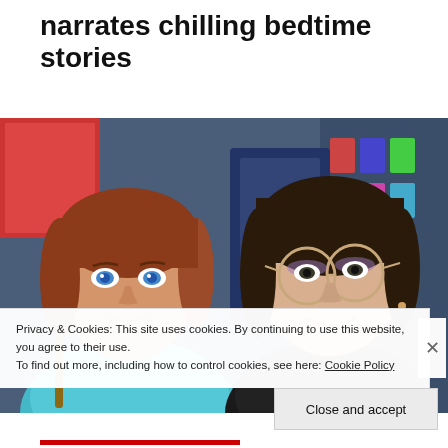narrates chilling bedtime stories
[Figure (photo): Two women smiling at the camera in a selfie photo. Left woman has red/auburn hair and blue eyes wearing a teal top. Right woman has dark hair pulled back, wearing glasses and a black top. Background shows a colorful store or arcade setting.]
Privacy & Cookies: This site uses cookies. By continuing to use this website, you agree to their use.
To find out more, including how to control cookies, see here: Cookie Policy
Close and accept